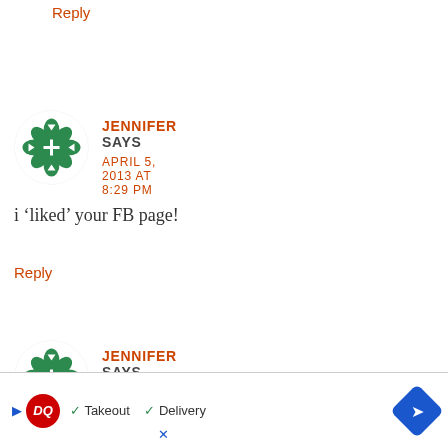Reply
[Figure (illustration): Green snowflake/mandala avatar icon for user Jennifer]
JENNIFER SAYS
APRIL 5, 2013 AT 8:29 PM
i 'liked' your FB page!
Reply
[Figure (illustration): Green snowflake/mandala avatar icon for user Jennifer]
JENNIFER SAYS
APRIL 5, 2013 AT 8:30 PM
i 'like
[Figure (screenshot): Dairy Queen ad banner showing DQ logo with Takeout and Delivery checkmarks and navigation arrow]